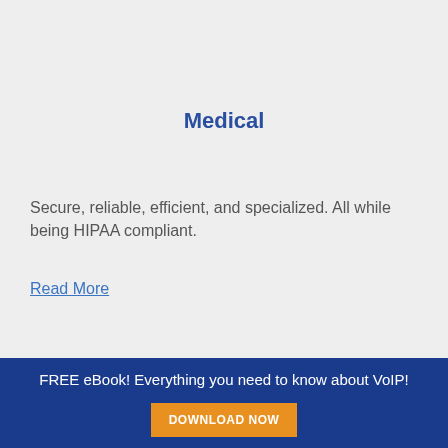Medical
Secure, reliable, efficient, and specialized. All while being HIPAA compliant.
Read More
FREE eBook! Everything you need to know about VoIP! DOWNLOAD NOW